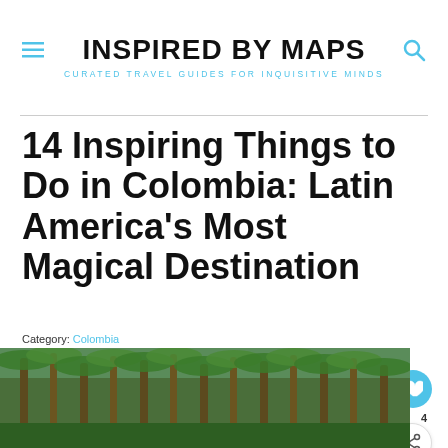INSPIRED BY MAPS — Curated Travel Guides for Inquisitive Minds
14 Inspiring Things to Do in Colombia: Latin America's Most Magical Destination
Category: Colombia
[Figure (photo): Photo of tropical palm trees, dense green foliage, viewed from below looking up — a coastal Colombian scene.]